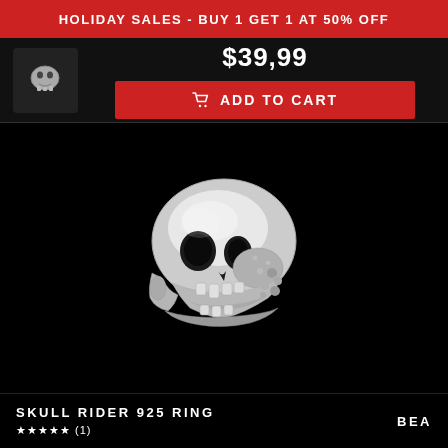HOLIDAY SALES - BUY 1 GET 1 AT 50% OFF
$39,99
ADD TO CART
[Figure (photo): Silver skull ring product photo on black background, showing detailed metallic skull design with open jaw and textured surface]
SKULL RIDER 925 RING
BEA